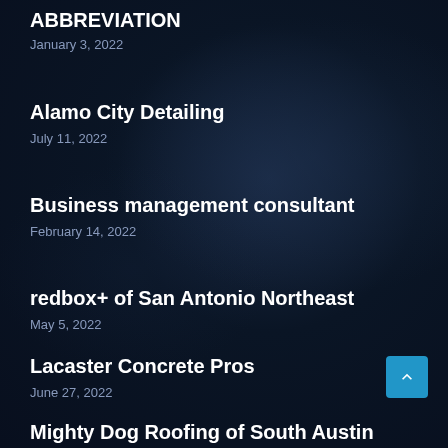ABBREVIATION
January 3, 2022
Alamo City Detailing
July 11, 2022
Business management consultant
February 14, 2022
redbox+ of San Antonio Northeast
May 5, 2022
Lacaster Concrete Pros
June 27, 2022
Mighty Dog Roofing of South Austin